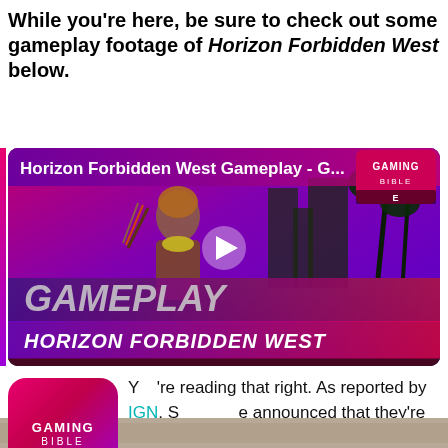While you're here, be sure to check out some gameplay footage of Horizon Forbidden West below.
[Figure (screenshot): Video thumbnail showing Horizon Forbidden West gameplay with a female character holding a bow, overlaid with 'GAMEPLAY HORIZON FORBIDDEN WEST' text and a play button. Gaming Bible logo in top right corner.]
You're reading that right. As reported by IGN, Sony have announced that they're working with the Arbor Day Foundation, and will be donating one tree to a forest restoration project every time a player unlocks the "Reached the Daunt" trophy.
[Figure (photo): Partial image visible at bottom of page]